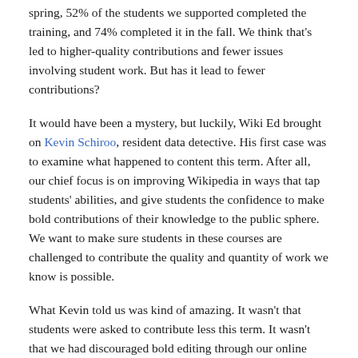spring, 52% of the students we supported completed the training, and 74% completed it in the fall. We think that's led to higher-quality contributions and fewer issues involving student work. But has it lead to fewer contributions?
It would have been a mystery, but luckily, Wiki Ed brought on Kevin Schiroo, resident data detective. His first case was to examine what happened to content this term. After all, our chief focus is on improving Wikipedia in ways that tap students' abilities, and give students the confidence to make bold contributions of their knowledge to the public sphere. We want to make sure students in these courses are challenged to contribute the quality and quantity of work we know is possible.
What Kevin told us was kind of amazing. It wasn't that students were asked to contribute less this term. It wasn't that we had discouraged bold editing through our online training or classroom resources.